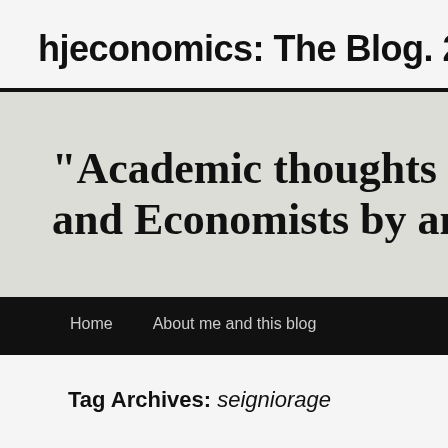hjeconomics: The Blog. 2011-
[Figure (screenshot): Blog header banner with large bold text reading “Academic thoughts on and Economists by an A” on a light grey background, with a black navigation bar below containing links: Home, About me and this blog]
Tag Archives: seigniorage